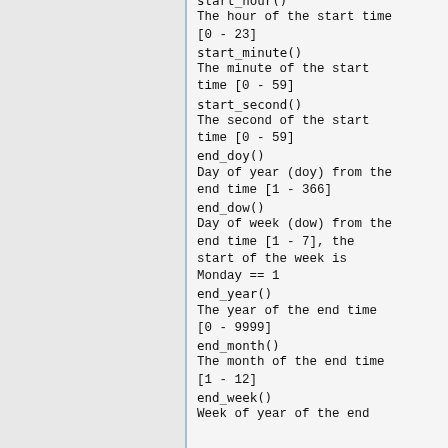start_hour()
The hour of the start time [0 - 23]
start_minute()
The minute of the start time [0 - 59]
start_second()
The second of the start time [0 - 59]
end_doy()
Day of year (doy) from the end time [1 - 366]
end_dow()
Day of week (dow) from the end time [1 - 7], the start of the week is Monday == 1
end_year()
The year of the end time [0 - 9999]
end_month()
The month of the end time [1 - 12]
end_week()
Week of year of the end